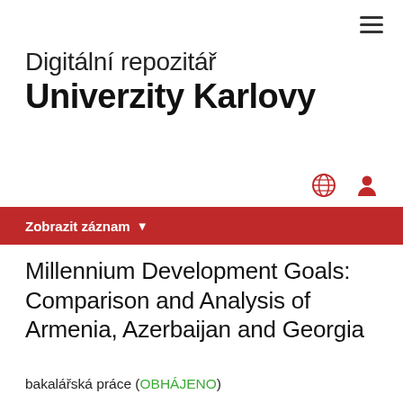Digitální repozitář Univerzity Karlovy
Millennium Development Goals: Comparison and Analysis of Armenia, Azerbaijan and Georgia
bakalářská práce (OBHÁJENO)